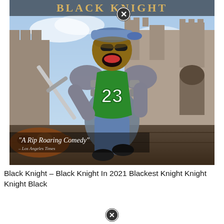[Figure (photo): Movie poster for 'Black Knight' showing a man in a green #23 jersey with silver knight armor, holding a sword, posed in front of a medieval castle. The title 'BLACK KNIGHT' appears at the top. A circular close (X) button overlays the top center. Text overlay reads '"A Rip Roaring Comedy"' with a Los Angeles Times attribution. A close (X) button also appears at the bottom center of the page.]
Black Knight – Black Knight In 2021 Blackest Knight Knight Knight Black